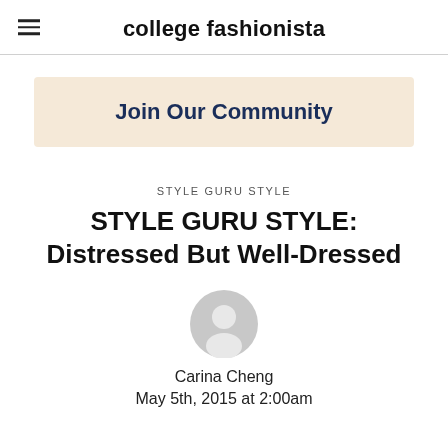college fashionista
[Figure (other): Beige/tan banner with bold dark blue text reading 'Join Our Community']
STYLE GURU STYLE
STYLE GURU STYLE: Distressed But Well-Dressed
[Figure (photo): Circular gray user avatar icon]
Carina Cheng
May 5th, 2015 at 2:00am